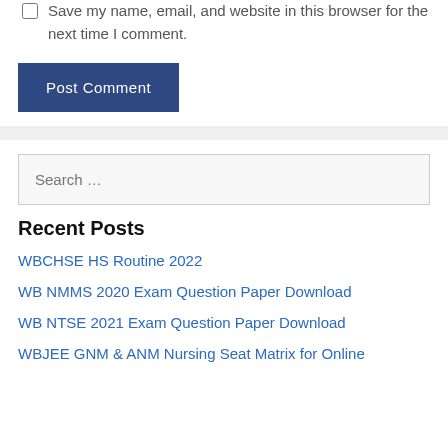Save my name, email, and website in this browser for the next time I comment.
Post Comment
Search …
Recent Posts
WBCHSE HS Routine 2022
WB NMMS 2020 Exam Question Paper Download
WB NTSE 2021 Exam Question Paper Download
WBJEE GNM & ANM Nursing Seat Matrix for Online